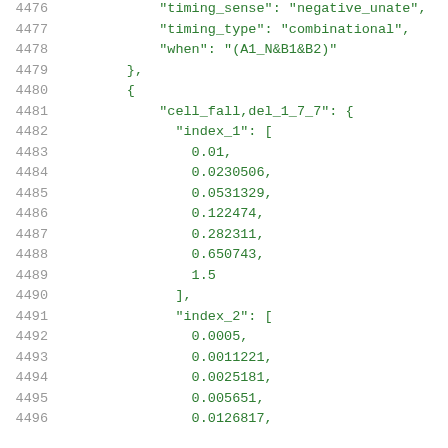Code listing lines 4476-4496 showing JSON data with timing_sense, timing_type, when, cell_fall/del_1_7_7, index_1, and index_2 arrays